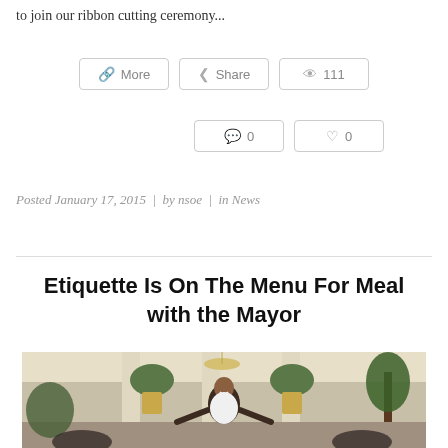to join our ribbon cutting ceremony...
More | Share | 111 | 0 | 0
Posted January 17, 2015 | by nsoe | in News
Etiquette Is On The Menu For Meal with the Mayor
[Figure (photo): A young woman smiling in an elegant room with columns, chandeliers, and holiday decorations, appearing to gesture with outstretched arms.]